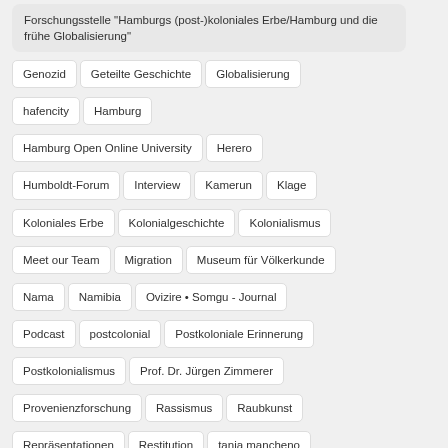Forschungsstelle "Hamburgs (post-)koloniales Erbe/Hamburg und die frühe Globalisierung"
Genozid
Geteilte Geschichte
Globalisierung
hafencity
Hamburg
Hamburg Open Online University
Herero
Humboldt-Forum
Interview
Kamerun
Klage
Koloniales Erbe
Kolonialgeschichte
Kolonialismus
Meet our Team
Migration
Museum für Völkerkunde
Nama
Namibia
Ovizire • Somgu - Journal
Podcast
postcolonial
Postkoloniale Erinnerung
Postkolonialismus
Prof. Dr. Jürgen Zimmerer
Provenienzforschung
Rassismus
Raubkunst
Repräsentationen
Restitution
tania mancheno
Tansania
Theater der Welt
Universität Hamburg
Völkermord